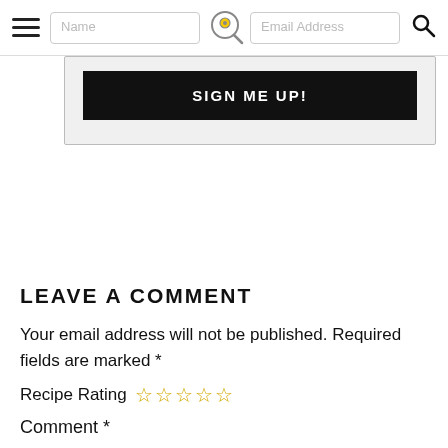Name | [logo] | Email Address | [search]
SIGN ME UP!
LEAVE A COMMENT
Your email address will not be published. Required fields are marked *
Recipe Rating ☆☆☆☆☆
Comment *